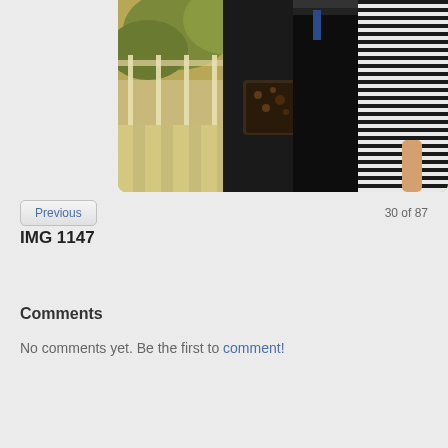[Figure (photo): Partial photo showing lower bodies of people standing on a balcony or bridge with railing and trees in background. One person wearing black jeans with a patterned handbag, another in striped dress.]
Previous
30 of 87
IMG 1147
Comments
No comments yet. Be the first to comment!